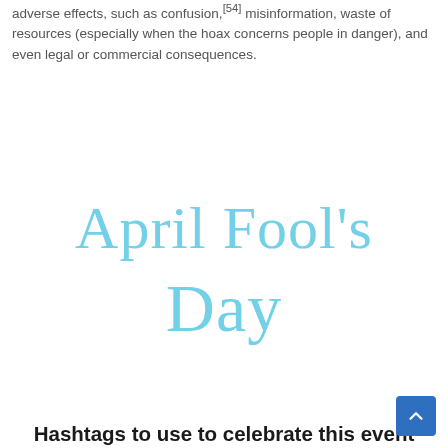adverse effects, such as confusion,[54] misinformation, waste of resources (especially when the hoax concerns people in danger), and even legal or commercial consequences.
[Figure (illustration): Decorative cursive text reading 'April Fool's Day' in light blue color with a bubble/rounded font style]
Hashtags to use to celebrate this event